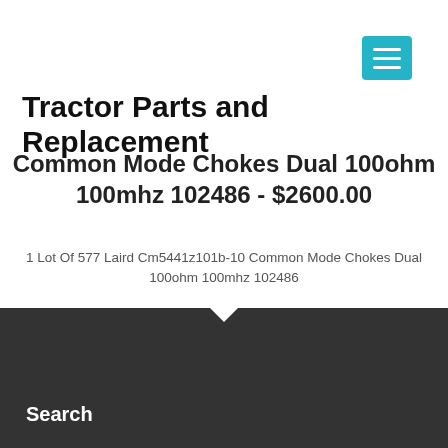Tractor Parts and Replacement
Common Mode Chokes Dual 100ohm 100mhz 102486 - $2600.00
1 Lot Of 577 Laird Cm5441z101b-10 Common Mode Chokes Dual 100ohm 100mhz 102486
Search